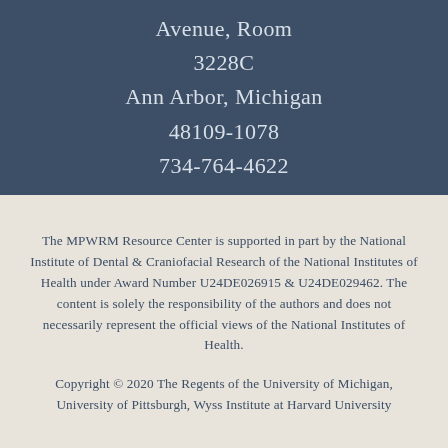Avenue, Room 3228C
Ann Arbor, Michigan 48109-1078
734-764-4622
The MPWRM Resource Center is supported in part by the National Institute of Dental & Craniofacial Research of the National Institutes of Health under Award Number U24DE026915 & U24DE029462. The content is solely the responsibility of the authors and does not necessarily represent the official views of the National Institutes of Health.
Copyright © 2020 The Regents of the University of Michigan, University of Pittsburgh, Wyss Institute at Harvard University